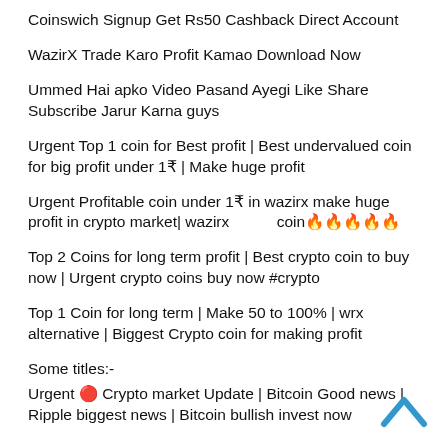Coinswich Signup Get Rs50 Cashback Direct Account
WazirX Trade Karo Profit Kamao Download Now
Ummed Hai apko Video Pasand Ayegi Like Share Subscribe Jarur Karna guys
Urgent Top 1 coin for Best profit | Best undervalued coin for big profit under 1₹ | Make huge profit
Urgent Profitable coin under 1₹ in wazirx make huge profit in crypto market| wazirx          coin🔥🔥🔥🔥🔥
Top 2 Coins for long term profit | Best crypto coin to buy now | Urgent crypto coins buy now #crypto
Top 1 Coin for long term | Make 50 to 100% | wrx alternative | Biggest Crypto coin for making profit
Some titles:-
Urgent 🔴 Crypto market Update | Bitcoin Good news | Ripple biggest news | Bitcoin bullish invest now